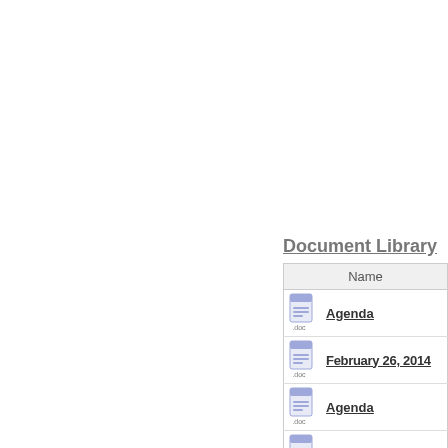Document Library
| Name |
| --- |
| Agenda |
| February 26, 2014 |
| Agenda |
| January 15, 2014 |
| Agenda |
| July 23, 2014 |